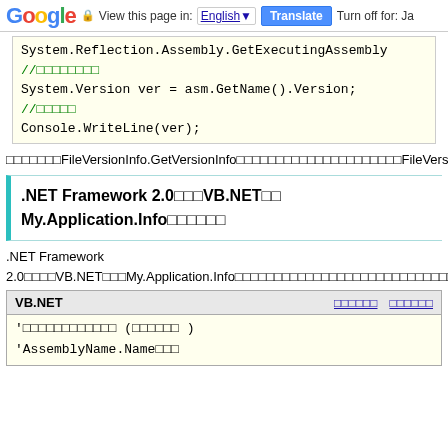Google  View this page in: English [▼]  Translate  Turn off for: Ja
[Figure (screenshot): Code block showing System.Reflection.Assembly.GetExecutingAssembly, //□□□□□□□□, System.Version ver = asm.GetName().Version;, //□□□□□, Console.WriteLine(ver);]
□□□□□□□FileVersionInfo.GetVersionInfo□□□□□□□□□□□□□□□□□□□□□FileVersion□□□□□□□□□ProductVersion□□AssemblyFileVersionAttribute□□□□□□□□□□□□□AssemblyName.Version□□□□□□□□□□□□AssemblyProductAttribute□□□□□□□□□□□□□AssemblyFileVersionAttribute□□□□□□□□□□□□□□□□□□□□□□
.NET Framework 2.0□□□VB.NET□□ My.Application.Info□□□□□□
.NET Framework 2.0□□□□VB.NET□□□My.Application.Info□□□□□□□□□□□□□□□□□□□□□□□□□□□□□□□□□□□□□□□□□□
| VB.NET | □□□□□□ | □□□□□□ |
| --- | --- | --- |
| '□□□□□□□□□□□□ (□□□□□□ ) | 'AssemblyName.Name□□□ |  |  |